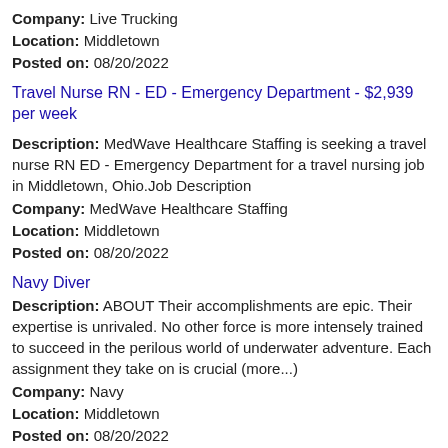Company: Live Trucking
Location: Middletown
Posted on: 08/20/2022
Travel Nurse RN - ED - Emergency Department - $2,939 per week
Description: MedWave Healthcare Staffing is seeking a travel nurse RN ED - Emergency Department for a travel nursing job in Middletown, Ohio.Job Description
Company: MedWave Healthcare Staffing
Location: Middletown
Posted on: 08/20/2022
Navy Diver
Description: ABOUT Their accomplishments are epic. Their expertise is unrivaled. No other force is more intensely trained to succeed in the perilous world of underwater adventure. Each assignment they take on is crucial (more...)
Company: Navy
Location: Middletown
Posted on: 08/20/2022
Loading more jobs...